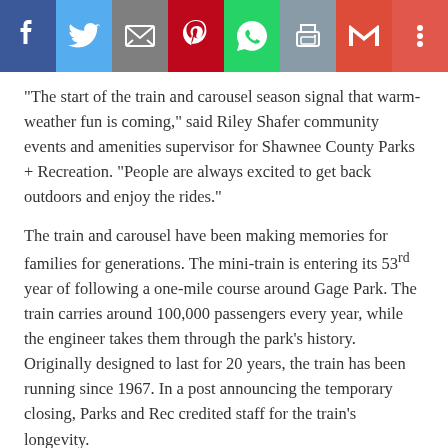[Figure (other): Social media share toolbar with buttons for Facebook, Twitter, Email, Pinterest, WhatsApp, Print, Gmail, and More]
“The start of the train and carousel season signal that warm-weather fun is coming,” said Riley Shafer community events and amenities supervisor for Shawnee County Parks + Recreation. “People are always excited to get back outdoors and enjoy the rides.”
The train and carousel have been making memories for families for generations. The mini-train is entering its 53rd year of following a one-mile course around Gage Park. The train carries around 100,000 passengers every year, while the engineer takes them through the park’s history. Originally designed to last for 20 years, the train has been running since 1967. In a post announcing the temporary closing, Parks and Rec credited staff for the train’s longevity.
“Talented and dedicated mechanics who take personally the task of keeping the train running for the children have continually found innovative